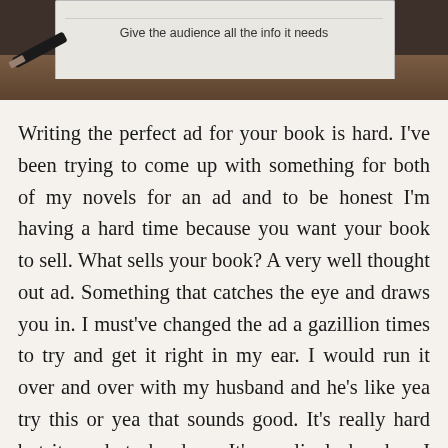[Figure (photo): Partial screenshot of a tablet or notepad with text 'Give the audience all the info it needs' visible at top, with a pen lying on a wooden surface beside it.]
Writing the perfect ad for your book is hard. I've been trying to come up with something for both of my novels for an ad and to be honest I'm having a hard time because you want your book to sell. What sells your book? A very well thought out ad. Something that catches the eye and draws you in. I must've changed the ad a gazillion times to try and get it right in my ear. I would run it over and over with my husband and he's like yea try this or yea that sounds good. It's really hard but it needs to be done. It's my lively hood so I want to do right by it.